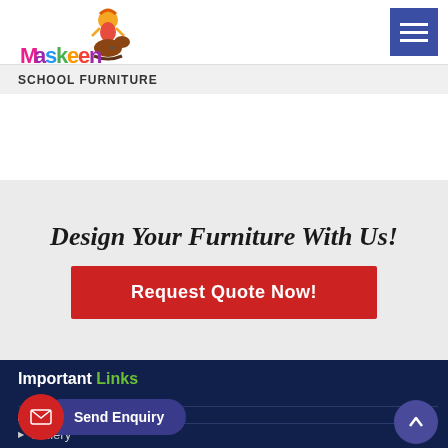[Figure (logo): Maskeen School Furniture logo with colorful text and child on rocking horse illustration]
[Figure (other): Hamburger menu button (three horizontal lines) in blue square]
SCHOOL FURNITURE
Design Your Furniture With Us!
Request Quote Now!
Important Links
Send Enquiry
About Us
Gallery